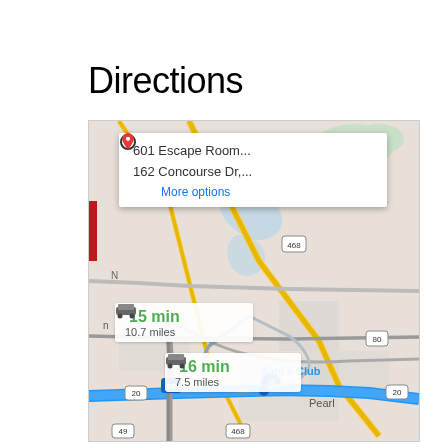Directions
[Figure (map): Google Maps screenshot showing directions from 601 Escape Room to 162 Concourse Dr, with two route options: 15 min / 10.7 miles and 16 min / 7.5 miles. Map shows area near Pearl, Mississippi including Sam's Club, highways 20, 55, 80, 468, 49.]